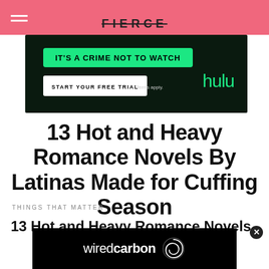FIERCE
[Figure (screenshot): Hulu advertisement banner on dark green background: 'IT'S A CRIME NOT TO WATCH' in green pill, 'START YOUR FREE TRIAL' button, 'Terms apply.' text, and Hulu green wordmark]
13 Hot and Heavy Romance Novels By Latinas Made for Cuffing Season
THINGS THAT MATTER
13 Hot and Heavy Romance Novels
[Figure (screenshot): WiredCarbon advertisement banner on black background with wiredcarbon logo and spiral graphic]